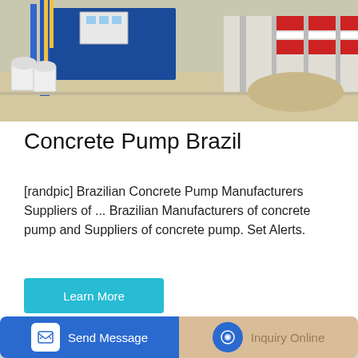[Figure (photo): Industrial concrete pump / batching plant facility outdoors with blue structures, white tanks, and red-striped warehouse in background]
Concrete Pump Brazil
[randpic] Brazilian Concrete Pump Manufacturers Suppliers of ... Brazilian Manufacturers of concrete pump and Suppliers of concrete pump. Set Alerts.
Learn More
[Figure (photo): Large yellow concrete pump machine inside an industrial warehouse with steel roof structure]
Send Message
Inquiry Online